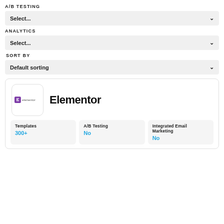A/B TESTING
Select...
ANALYTICS
Select...
SORT BY
Default sorting
[Figure (logo): Elementor logo: purple square with 'E' icon and 'elementor' wordmark]
Elementor
| Templates | A/B Testing | Integrated Email Marketing |
| --- | --- | --- |
| 300+ | No | No |